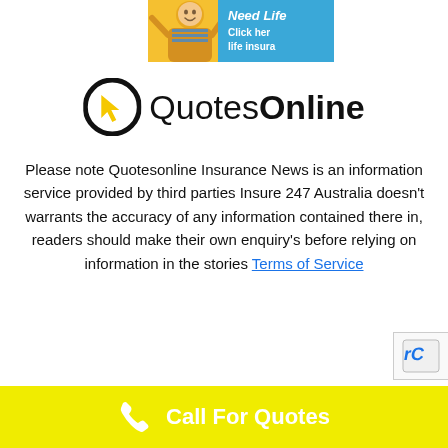[Figure (photo): Advertisement banner with a person and text reading 'Need Life' 'Click here' 'life insurance']
[Figure (logo): QuotesOnline logo with black circle containing yellow cursor arrow and the text 'QuotesOnline' in black]
Please note Quotesonline Insurance News is an information service provided by third parties Insure 247 Australia doesn't warrants the accuracy of any information contained there in, readers should make their own enquiry's before relying on information in the stories Terms of Service
[Figure (other): Yellow footer bar with phone icon and text 'Call For Quotes']